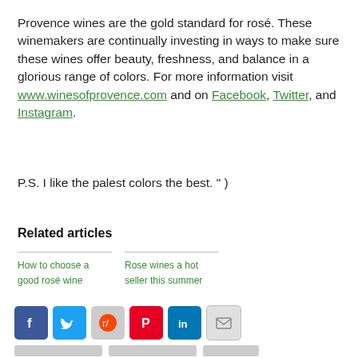Provence wines are the gold standard for rosé. These winemakers are continually investing in ways to make sure these wines offer beauty, freshness, and balance in a glorious range of colors. For more information visit www.winesofprovence.com and on Facebook, Twitter, and Instagram.
P.S. I like the palest colors the best. " )
Related articles
How to choose a good rosé wine
Rose wines a hot seller this summer
[Figure (other): Social media sharing icons: Facebook, Twitter, Reddit, Pinterest, LinkedIn, Email]